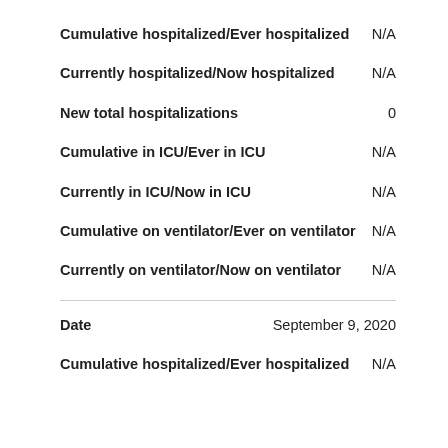Cumulative hospitalized/Ever hospitalized  N/A
Currently hospitalized/Now hospitalized  N/A
New total hospitalizations  0
Cumulative in ICU/Ever in ICU  N/A
Currently in ICU/Now in ICU  N/A
Cumulative on ventilator/Ever on ventilator  N/A
Currently on ventilator/Now on ventilator  N/A
Date  September 9, 2020
Cumulative hospitalized/Ever hospitalized  N/A